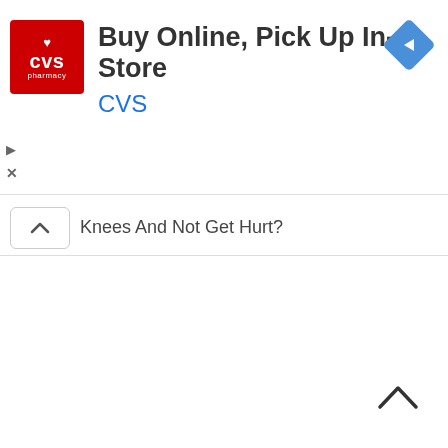[Figure (logo): CVS Pharmacy advertisement banner with red CVS logo, title 'Buy Online, Pick Up In-Store', brand name 'CVS' in blue, and a blue navigation diamond icon in the top right]
Knees And Not Get Hurt?